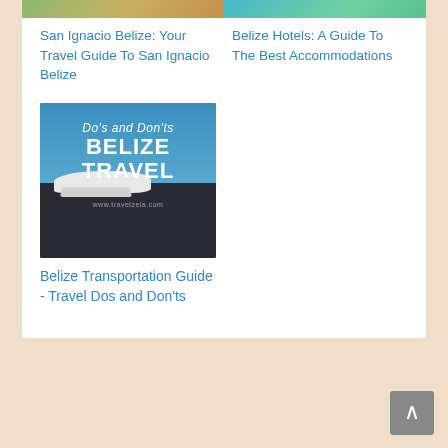[Figure (photo): Partial top of image showing San Ignacio Belize travel guide photo - tropical/outdoor scene]
[Figure (photo): Partial top of image showing Belize Hotels guide photo - pool or tropical accommodation]
San Ignacio Belize: Your Travel Guide To San Ignacio Belize
Belize Hotels: A Guide To The Best Accommodations
[Figure (photo): Do's and Don'ts Belize Travel - image showing small propeller planes on a runway with text overlay]
Belize Transportation Guide - Travel Dos and Don'ts